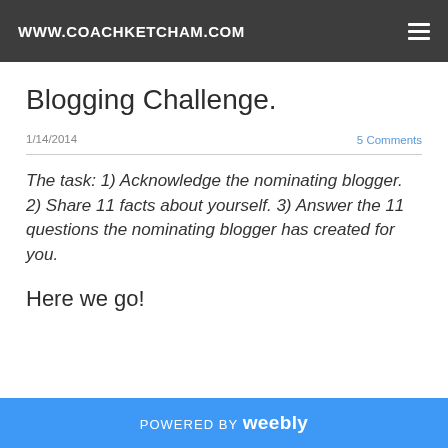WWW.COACHKETCHAM.COM
Blogging Challenge.
1/14/2014
5 Comments
The task: 1) Acknowledge the nominating blogger. 2) Share 11 facts about yourself. 3) Answer the 11 questions the nominating blogger has created for you.
Here we go!
POWERED BY weebly